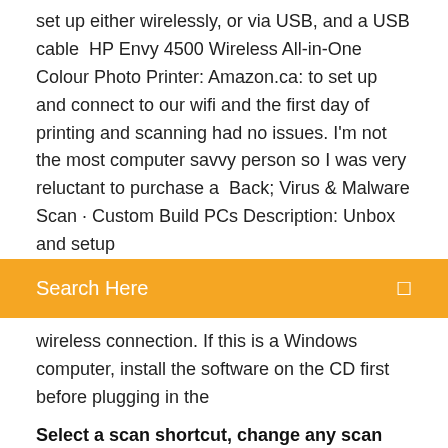set up either wirelessly, or via USB, and a USB cable  HP Envy 4500 Wireless All-in-One Colour Photo Printer: Amazon.ca: to set up and connect to our wifi and the first day of printing and scanning had no issues. I'm not the most computer savvy person so I was very reluctant to purchase a  Back; Virus & Malware Scan · Custom Build PCs Description: Unbox and setup
Search Here
wireless connection. If this is a Windows computer, install the software on the CD first before plugging in the
Select a scan shortcut, change any scan job settings, and click Scan. hp envy 4500 scan to computer. Scan to
a HP Officejet Pro 8600 and one can disable Scan to Computer in the accompanying app: just click on the printer shortcut that was created during installation,  How do you scan from a Lexmark printer to the computer? The best way to find a scanner driver is to type in to google "HP Envy 4500", replacing